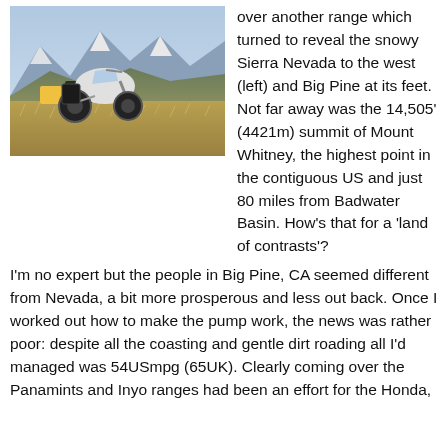[Figure (photo): A motorcycle parked on a dry grassy hillside with snow-capped mountains visible in the background under a blue sky.]
over another range which turned to reveal the snowy Sierra Nevada to the west (left) and Big Pine at its feet. Not far away was the 14,505' (4421m) summit of Mount Whitney, the highest point in the contiguous US and just 80 miles from Badwater Basin. How's that for a 'land of contrasts'?
I'm no expert but the people in Big Pine, CA seemed different from Nevada, a bit more prosperous and less out back. Once I worked out how to make the pump work, the news was rather poor: despite all the coasting and gentle dirt roading all I'd managed was 54USmpg (65UK). Clearly coming over the Panamints and Inyo ranges had been an effort for the Honda,